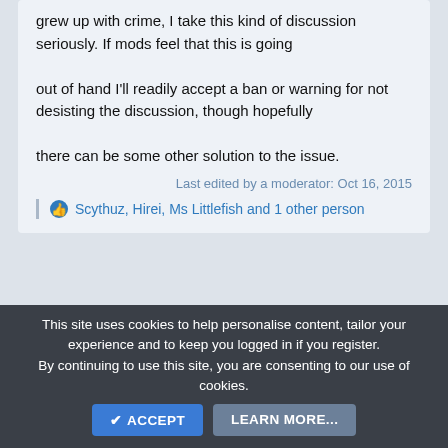grew up with crime, I take this kind of discussion seriously. If mods feel that this is going

out of hand I'll readily accept a ban or warning for not desisting the discussion, though hopefully

there can be some other solution to the issue.
Last edited by a moderator: Oct 16, 2015
Scythuz, Hirei, Ms Littlefish and 1 other person
Alistair
This site uses cookies to help personalise content, tailor your experience and to keep you logged in if you register.
By continuing to use this site, you are consenting to our use of cookies.